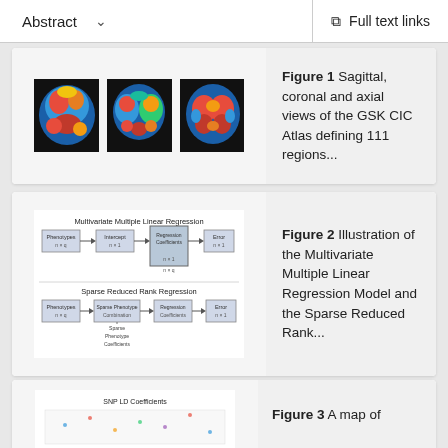Abstract | Full text links
[Figure (photo): Three brain scan views (sagittal, coronal, axial) from the GSK CIC Atlas showing colored regions]
Figure 1 Sagittal, coronal and axial views of the GSK CIC Atlas defining 111 regions...
[Figure (schematic): Diagram illustrating Multivariate Multiple Linear Regression and Sparse Reduced Rank Regression models with boxes and arrows]
Figure 2 Illustration of the Multivariate Multiple Linear Regression Model and the Sparse Reduced Rank...
[Figure (other): Partial view of Figure 3 showing SNP LD Coefficients map]
Figure 3 A map of